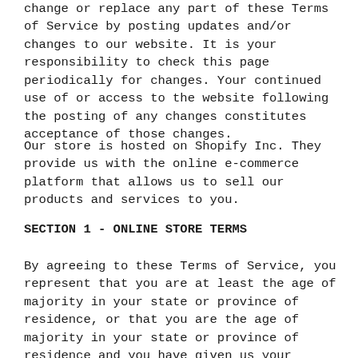change or replace any part of these Terms of Service by posting updates and/or changes to our website. It is your responsibility to check this page periodically for changes. Your continued use of or access to the website following the posting of any changes constitutes acceptance of those changes.
Our store is hosted on Shopify Inc. They provide us with the online e-commerce platform that allows us to sell our products and services to you.
SECTION 1 - ONLINE STORE TERMS
By agreeing to these Terms of Service, you represent that you are at least the age of majority in your state or province of residence, or that you are the age of majority in your state or province of residence and you have given us your consent to allow any of your minor dependents to use this site.
You may not use our products for any illegal or